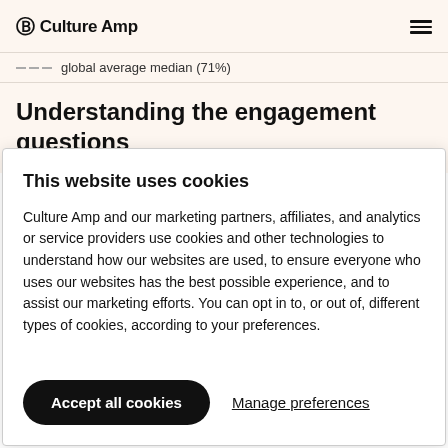Culture Amp
global average median (71%)
Understanding the engagement questions
This website uses cookies
Culture Amp and our marketing partners, affiliates, and analytics or service providers use cookies and other technologies to understand how our websites are used, to ensure everyone who uses our websites has the best possible experience, and to assist our marketing efforts. You can opt in to, or out of, different types of cookies, according to your preferences.
Accept all cookies
Manage preferences